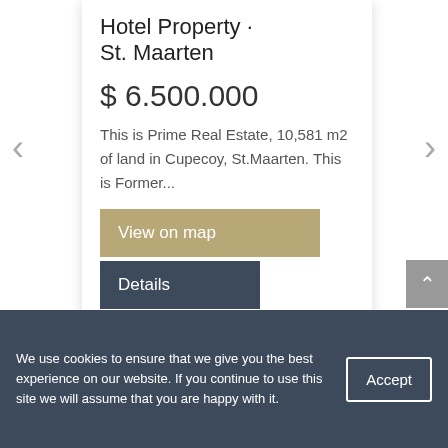Hotel Property · St. Maarten
$ 6.500.000
This is Prime Real Estate, 10,581 m2 of land in Cupecoy, St.Maarten. This is Former...
View on map
Details
We use cookies to ensure that we give you the best experience on our website. If you continue to use this site we will assume that you are happy with it.
Accept